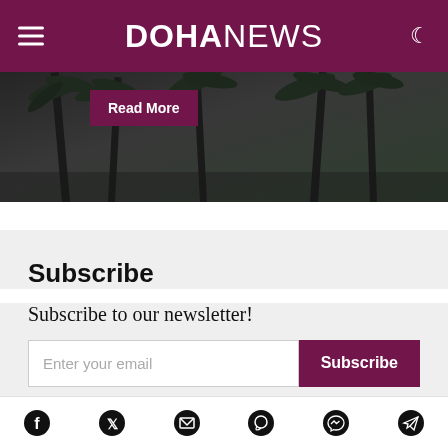DOHANEWS
[Figure (photo): Hero image with dark silhouetted palm trees against a stormy grey sky, with a 'Read More' button overlay in dark red/maroon]
Subscribe
Subscribe to our newsletter!
Enter your email | Subscribe
By checking this box, you confirm that you have read and
Social icons: Facebook, Twitter, Email, WhatsApp, Messenger, Telegram